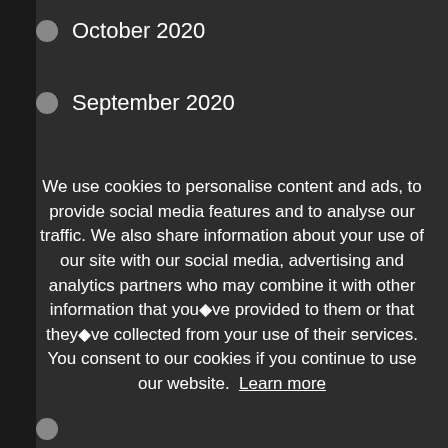October 2020
September 2020
We use cookies to personalise content and ads, to provide social media features and to analyse our traffic. We also share information about your use of our site with our social media, advertising and analytics partners who may combine it with other information that you◆ve provided to them or that they◆ve collected from your use of their services. You consent to our cookies if you continue to use our website. Learn more
Okay, I Understand